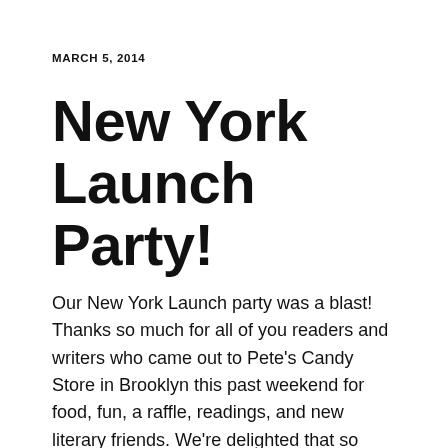MARCH 5, 2014
New York Launch Party!
Our New York Launch party was a blast! Thanks so much for all of you readers and writers who came out to Pete's Candy Store in Brooklyn this past weekend for food, fun, a raffle, readings, and new literary friends. We're delighted that so many people came and bought issues — and we're especially grateful to our contributors, who read from their wonderful writing. We're also excited to